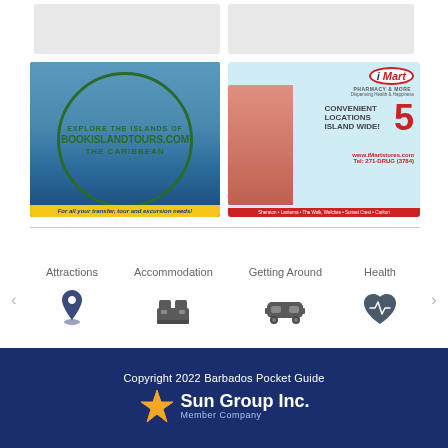[Figure (illustration): Two placeholder advertisement boxes at top of page]
[Figure (illustration): BookIslandTours.com advertisement - Explore the Islands of the Caribbean. For all your transfer, tour and excursion needs!]
[Figure (illustration): iMart Pharmacy & More advertisement - 5 Convenient Locations Island Wide! www.iMartstores.com Tel: 271-DRUG (3784). Sheraton, Lanterna, The Walk, Welches, Sunset Crest, Carlton]
Attractions
Accommodation
Getting Around
Health
Copyright 2022 Barbados Pocket Guide
Sun Group Inc.
Member Company